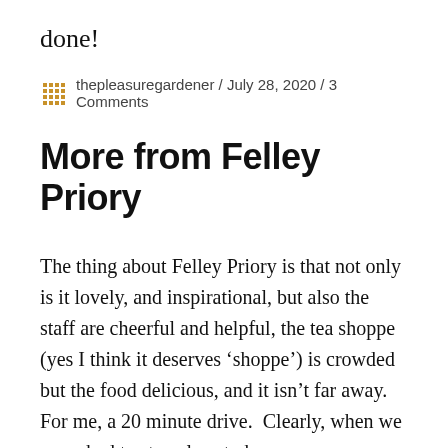done!
thepleasuregardener / July 28, 2020 / 3 Comments
More from Felley Priory
The thing about Felley Priory is that not only is it lovely, and inspirational, but also the staff are cheerful and helpful, the tea shoppe (yes I think it deserves ‘shoppe’) is crowded but the food delicious, and it isn’t far away.  For me, a 20 minute drive.  Clearly, when we are asked to stay close to home, our gardeners like to go